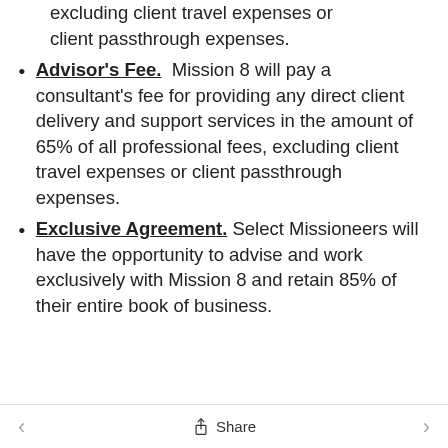excluding client travel expenses or client passthrough expenses.
Advisor's Fee.  Mission 8 will pay a consultant's fee for providing any direct client delivery and support services in the amount of 65% of all professional fees, excluding client travel expenses or client passthrough expenses.
Exclusive Agreement.  Select Missioneers will have the opportunity to advise and work exclusively with Mission 8 and retain 85% of their entire book of business.
< Share >